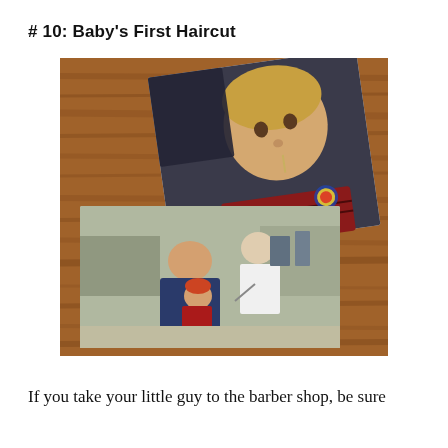# 10: Baby's First Haircut
[Figure (photo): Two printed photographs laid on a wooden surface. The top photo shows a toddler with light hair sitting in a barber chair, wearing a red patterned sweater and holding a lollipop, looking at the camera. The bottom photo shows a man holding a small red-haired child on his lap while a barber cuts the child's hair in a barbershop.]
If you take your little guy to the barber shop, be sure